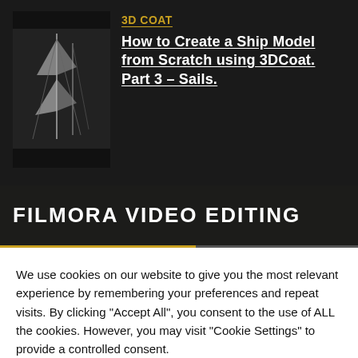[Figure (screenshot): Thumbnail image of a ship with sails, dark background, black bars at top and bottom]
3D COAT
How to Create a Ship Model from Scratch using 3DCoat. Part 3 – Sails.
FILMORA VIDEO EDITING
We use cookies on our website to give you the most relevant experience by remembering your preferences and repeat visits. By clicking "Accept All", you consent to the use of ALL the cookies. However, you may visit "Cookie Settings" to provide a controlled consent.
Cookie Settings
Accept All